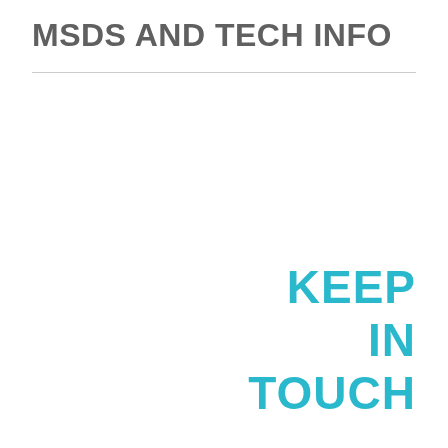MSDS AND TECH INFO
KEEP IN TOUCH